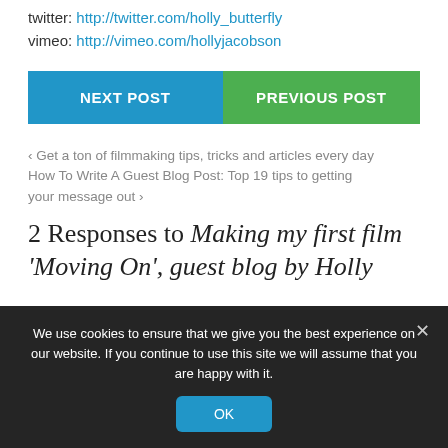twitter: http://twitter.com/holly_butterfly
vimeo: http://vimeo.com/hollyjacobson
NEXT POST
PREVIOUS POST
‹ Get a ton of filmmaking tips, tricks and articles every day
How To Write A Guest Blog Post: Top 19 tips to getting your message out ›
2 Responses to Making my first film 'Moving On', guest blog by Holly
We use cookies to ensure that we give you the best experience on our website. If you continue to use this site we will assume that you are happy with it.
OK